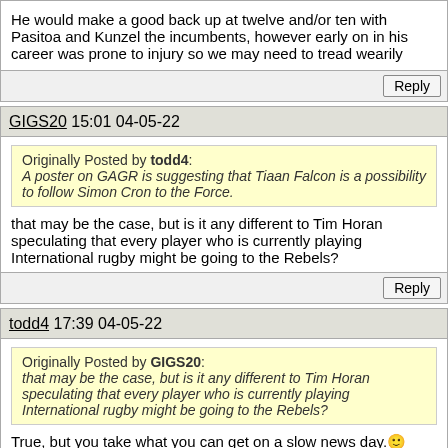He would make a good back up at twelve and/or ten with Pasitoa and Kunzel the incumbents, however early on in his career was prone to injury so we may need to tread wearily
GIGS20 15:01 04-05-22
Originally Posted by todd4: A poster on GAGR is suggesting that Tiaan Falcon is a possibility to follow Simon Cron to the Force.
that may be the case, but is it any different to Tim Horan speculating that every player who is currently playing International rugby might be going to the Rebels?
todd4 17:39 04-05-22
Originally Posted by GIGS20: that may be the case, but is it any different to Tim Horan speculating that every player who is currently playing International rugby might be going to the Rebels?
True, but you take what you can get on a slow news day. :)